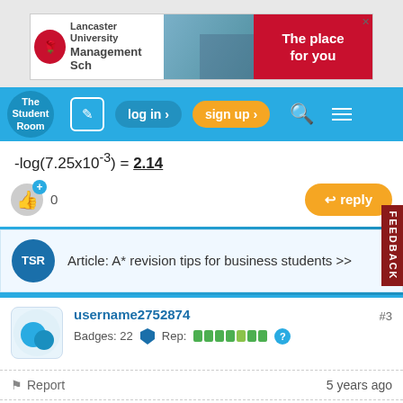[Figure (other): Lancaster University Management School advertisement banner with logo and 'The place for you' text on red background]
[Figure (other): The Student Room website navigation bar with logo, edit icon, log in, sign up buttons, search and menu icons]
[Figure (other): Like/thumbs-up button with +0 count and orange reply button]
Article: A* revision tips for business students >>
username2752874  #3
Badges: 22  Rep:  [green bars]
Report   5 years ago
(Original post by AnonymousAnswer)